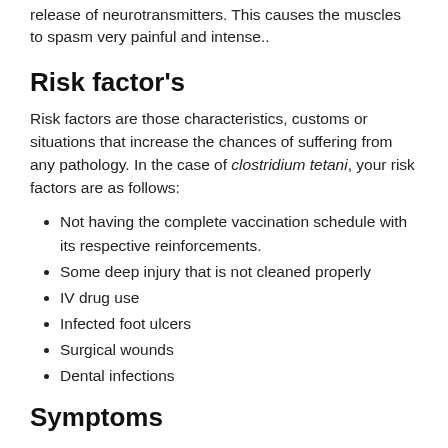release of neurotransmitters. This causes the muscles to spasm very painful and intense..
Risk factor's
Risk factors are those characteristics, customs or situations that increase the chances of suffering from any pathology. In the case of clostridium tetani, your risk factors are as follows:
Not having the complete vaccination schedule with its respective reinforcements.
Some deep injury that is not cleaned properly
IV drug use
Infected foot ulcers
Surgical wounds
Dental infections
Symptoms